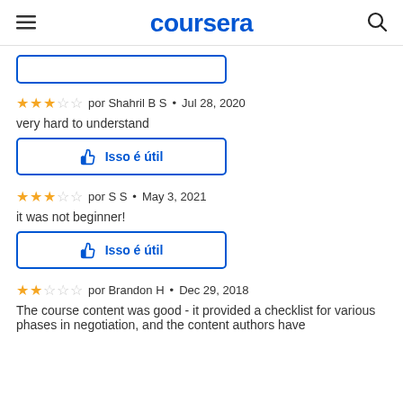coursera
[Figure (screenshot): Truncated button at the top of the page, partially visible]
★★★☆☆  por Shahril B S · Jul 28, 2020
very hard to understand
👍 Isso é útil
★★★☆☆  por S S · May 3, 2021
it was not beginner!
👍 Isso é útil
★★☆☆☆  por Brandon H · Dec 29, 2018
The course content was good - it provided a checklist for various phases in negotiation, and the content authors have